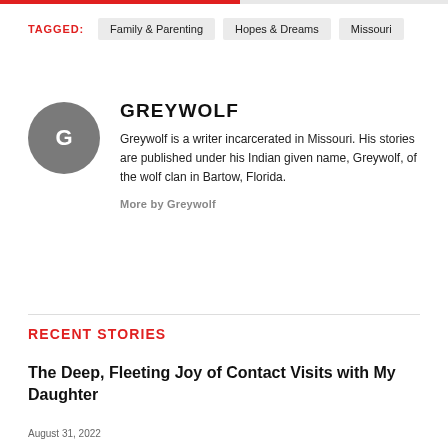TAGGED: Family & Parenting   Hopes & Dreams   Missouri
GREYWOLF
Greywolf is a writer incarcerated in Missouri. His stories are published under his Indian given name, Greywolf, of the wolf clan in Bartow, Florida.
More by Greywolf
RECENT STORIES
The Deep, Fleeting Joy of Contact Visits with My Daughter
August 31, 2022